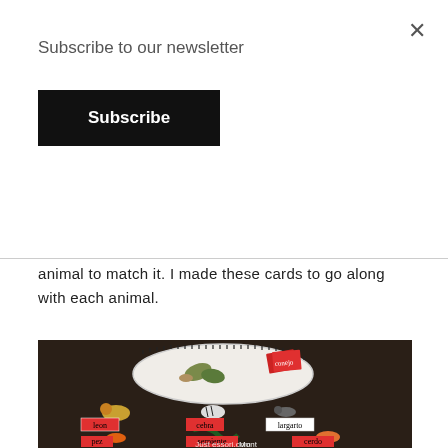Subscribe to our newsletter
Subscribe
animal to match it. I made these cards to go along with each animal.
[Figure (photo): Photo of a white basket containing small animal figurines and red cards, with animal name cards (leon, cebra, largarto, pez, serpiente, cerdo) laid out on a brown textured surface below. A watermark reads 'JustMontessori.com'.]